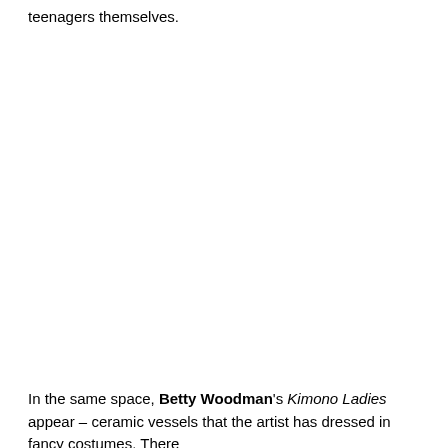teenagers themselves.
In the same space, Betty Woodman's Kimono Ladies appear – ceramic vessels that the artist has dressed in fancy costumes. There